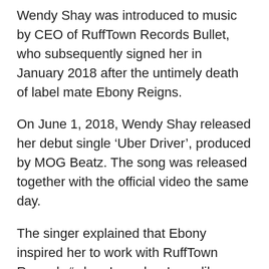Wendy Shay was introduced to music by CEO of RuffTown Records Bullet, who subsequently signed her in January 2018 after the untimely death of label mate Ebony Reigns.
On June 1, 2018, Wendy Shay released her debut single ‘Uber Driver’, produced by MOG Beatz. The song was released together with the official video the same day.
The singer explained that Ebony inspired her to work with RuffTown Records “when I saw her I was like wow if she could do it, I could do it too. So if I’m coming to Ghana and it’s not RuffTown Records then there is no need for me to come”.